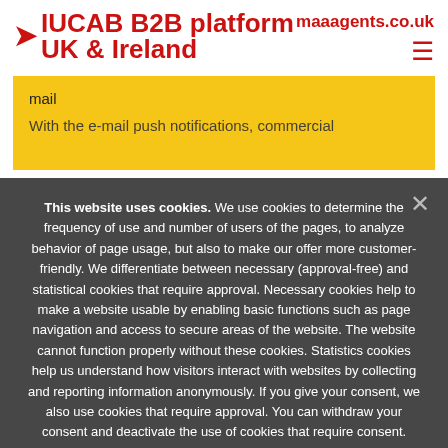IUCAB B2B platform UK & Ireland maaagents.co.uk
mail
With the e-mail push notifications, commercial
This website uses cookies. We use cookies to determine the frequency of use and number of users of the pages, to analyze behavior of page usage, but also to make our offer more customer-friendly. We differentiate between necessary (approval-free) and statistical cookies that require approval. Necessary cookies help to make a website usable by enabling basic functions such as page navigation and access to secure areas of the website. The website cannot function properly without these cookies. Statistics cookies help us understand how visitors interact with websites by collecting and reporting information anonymously. If you give your consent, we also use cookies that require approval. You can withdraw your consent and deactivate the use of cookies that require consent.
I accept cookies
I refuse cookies